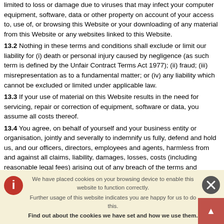limited to loss or damage due to viruses that may infect your computer equipment, software, data or other property on account of your access to, use of, or browsing this Website or your downloading of any material from this Website or any websites linked to this Website.
13.2 Nothing in these terms and conditions shall exclude or limit our liability for (i) death or personal injury caused by negligence (as such term is defined by the Unfair Contract Terms Act 1977); (ii) fraud; (iii) misrepresentation as to a fundamental matter; or (iv) any liability which cannot be excluded or limited under applicable law.
13.3 If your use of material on this Website results in the need for servicing, repair or correction of equipment, software or data, you assume all costs thereof.
13.4 You agree, on behalf of yourself and your business entity or organisation, jointly and severally to indemnify us fully, defend and hold us, and our officers, directors, employees and agents, harmless from and against all claims, liability, damages, losses, costs (including reasonable legal fees) arising out of any breach of the terms and conditions by you, or
We have placed cookies on your browsing device to enable this website to function correctly.
Further usage of this website indicates you are happy for us to do this.
Find out about the cookies we have set and how we use them.